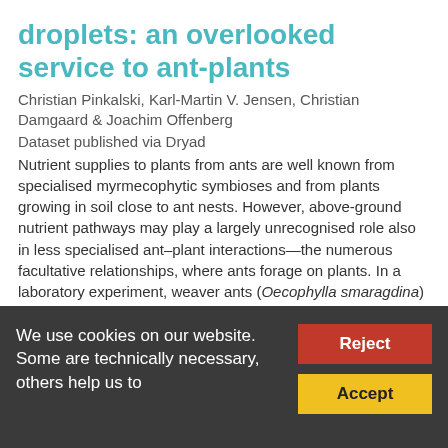droplets: an overlooked service to ant-plants
Christian Pinkalski, Karl-Martin V. Jensen, Christian Damgaard & Joachim Offenberg
Dataset published via Dryad
Nutrient supplies to plants from ants are well known from specialised myrmecophytic symbioses and from plants growing in soil close to ant nests. However, above-ground nutrient pathways may play a largely unrecognised role also in less specialised ant–plant interactions—the numerous facultative relationships, where ants forage on plants. In a laboratory experiment, weaver ants (Oecophylla smaragdina) were confined to the canopies of coffee (Coffea arabica) seedlings, excluding any ant-to-plant transfer of nutrients via the soil strata....
We use cookies on our website. Some are technically necessary, others help us to...
Reject
Accept